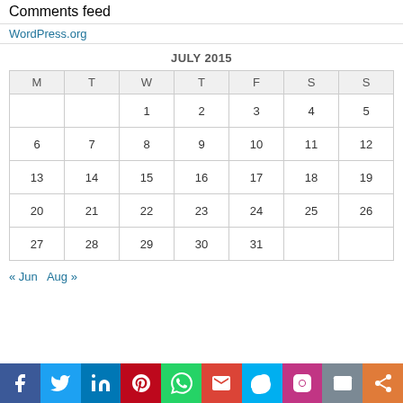Comments feed
WordPress.org
| M | T | W | T | F | S | S |
| --- | --- | --- | --- | --- | --- | --- |
|  |  | 1 | 2 | 3 | 4 | 5 |
| 6 | 7 | 8 | 9 | 10 | 11 | 12 |
| 13 | 14 | 15 | 16 | 17 | 18 | 19 |
| 20 | 21 | 22 | 23 | 24 | 25 | 26 |
| 27 | 28 | 29 | 30 | 31 |  |  |
« Jun   Aug »